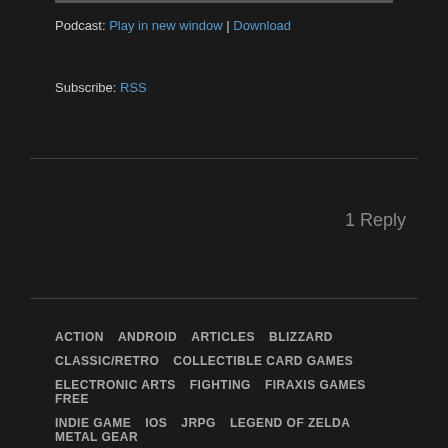Podcast: Play in new window | Download
Subscribe: RSS
1 Reply
ACTION  ANDROID  ARTICLES  BLIZZARD
CLASSIC/RETRO  COLLECTIBLE CARD GAMES
ELECTRONIC ARTS  FIGHTING  FIRAXIS GAMES  FREE
INDIE GAME  IOS  JRPG  LEGEND OF ZELDA  METAL GEAR
MICROSOFT GAME STUDIOS  MMORPG  MOBILE